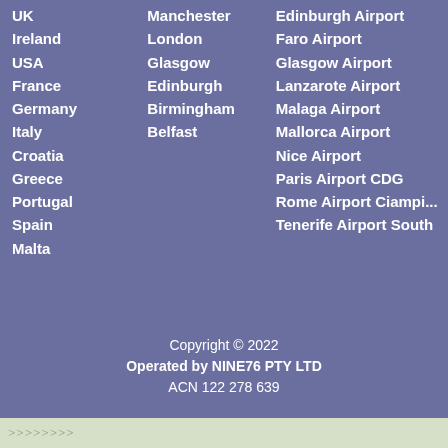UK
Ireland
USA
France
Germany
Italy
Croatia
Greece
Portugal
Spain
Malta
Manchester
London
Glasgow
Edinburgh
Birmingham
Belfast
Edinburgh Airport
Faro Airport
Glasgow Airport
Lanzarote Airport
Malaga Airport
Mallorca Airport
Nice Airport
Paris Airport CDG
Rome Airport Ciampino
Tenerife Airport South
Copyright © 2022
Operated by NINE76 PTY LTD
ACN 122 278 639
>>>>>>>>